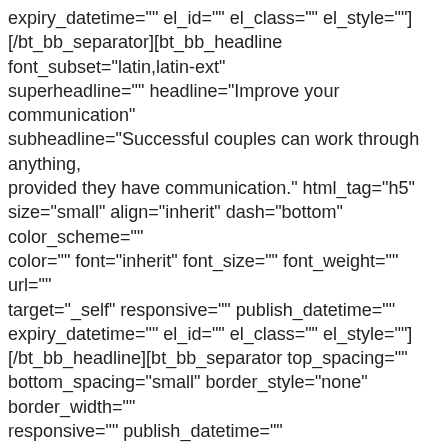expiry_datetime="" el_id="" el_class="" el_style=""] [/bt_bb_separator][bt_bb_headline font_subset="latin,latin-ext" superheadline="" headline="Improve your communication" subheadline="Successful couples can work through anything, provided they have communication." html_tag="h5" size="small" align="inherit" dash="bottom" color_scheme="" color="" font="inherit" font_size="" font_weight="" url="" target="_self" responsive="" publish_datetime="" expiry_datetime="" el_id="" el_class="" el_style=""] [/bt_bb_headline][bt_bb_separator top_spacing="" bottom_spacing="small" border_style="none" border_width="" responsive="" publish_datetime="" expiry_datetime="" el_id="" el_class="" el_style=""][/bt_bb_separator] [/bt_bb_content_slider_item][bt_bb_content_slider_item image="" background_overlay="" image_size="full" responsive="" publish_datetime="" expiry_datetime="" el_id="" el_class="" el_style="" highlighted="no"][bt_bb_icon icon="humanresources_e91b" text="" url="" target="_self" align="inherit" vertical_position="" color_scheme="dark-